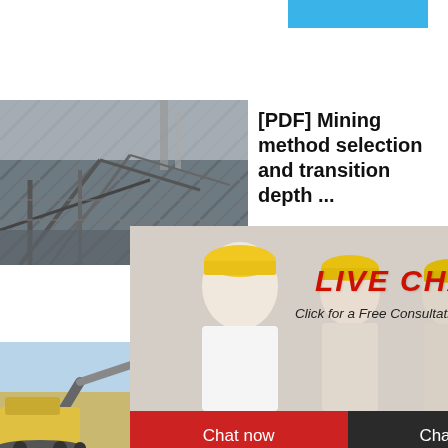[Figure (photo): Blue decorative header bar at top right of page]
[Figure (photo): Photo of mining/industrial metal structure with girders and conveyor equipment]
[PDF] Mining method selection and transition depth ...
[Figure (photo): Live chat popup overlay with workers in hard hats, woman smiling in foreground, red LIVE CHAT text, 'Click for a Free Consultation', Chat now and Chat later buttons]
[Figure (photo): Right sidebar blue panel showing 'hour online' and cone crusher machine image with 'Click me to chat>>' button]
[Figure (photo): Photo of iron ore mining machinery/excavator equipment against blue sky]
Iron ore technic Science
2015-1-1
Enquiry
limingjlmofen